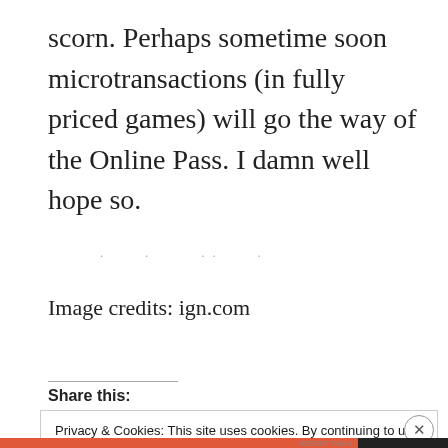scorn. Perhaps sometime soon microtransactions (in fully priced games) will go the way of the Online Pass. I damn well hope so.
[Figure (other): Small faint dot/icon row]
Image credits: ign.com
Share this:
Privacy & Cookies: This site uses cookies. By continuing to use this website, you agree to their use. To find out more, including how to control cookies, see here: Cookie Policy
Close and accept